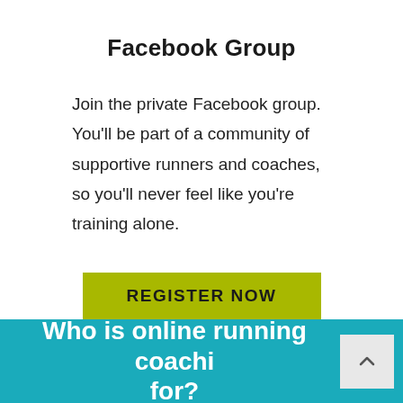Facebook Group
Join the private Facebook group. You'll be part of a community of supportive runners and coaches, so you'll never feel like you're training alone.
[Figure (other): Green/olive colored button with text 'REGISTER NOW' in bold uppercase letters]
Who is online running coaching for?